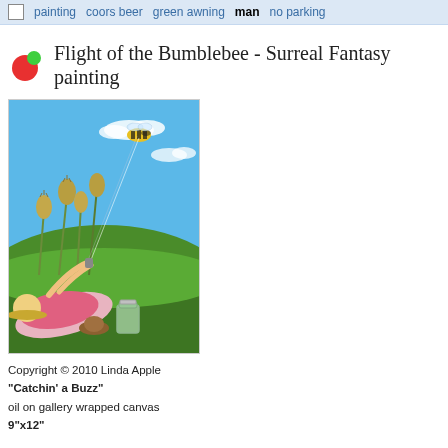painting  coors beer  green awning  man  no parking
Flight of the Bumblebee - Surreal Fantasy painting
[Figure (illustration): A surreal fantasy painting showing a person lying in a grass field with poppy seed pods around them, holding what appears to be a string or wire connected to a large bumblebee flying in a blue sky. A glass jar sits nearby on the ground.]
Copyright © 2010 Linda Apple
"Catchin' a Buzz"
oil on gallery wrapped canvas
9"x12"